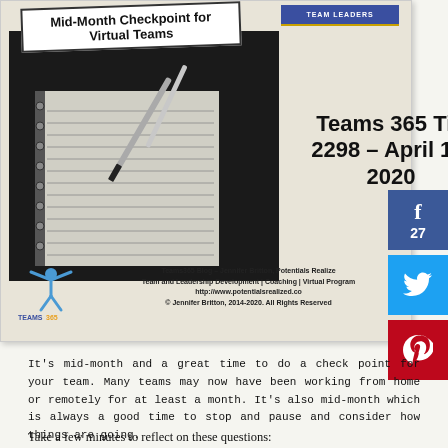[Figure (illustration): Blog post header card with notebook photo, Teams 365 Tip 2298 – April 15, 2020 title, Teams365 logo, blog attribution text, and social media share buttons (Facebook 27, Twitter, Pinterest)]
It's mid-month and a great time to do a check point for your team. Many teams may now have been working from home or remotely for at least a month. It's also mid-month which is always a good time to stop and pause and consider how things are going.
Take a few minutes to reflect on these questions: